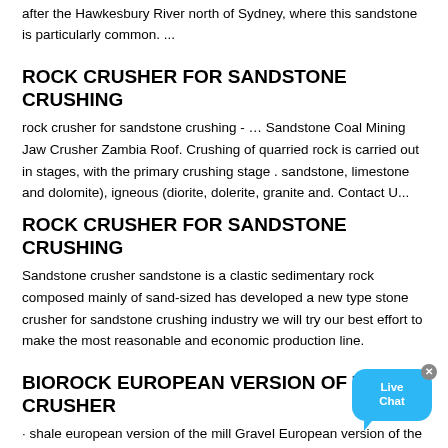after the Hawkesbury River north of Sydney, where this sandstone is particularly common. ...
ROCK CRUSHER FOR SANDSTONE CRUSHING
rock crusher for sandstone crushing - … Sandstone Coal Mining Jaw Crusher Zambia Roof. Crushing of quarried rock is carried out in stages, with the primary crushing stage . sandstone, limestone and dolomite), igneous (diorite, dolerite, granite and. Contact U...
[Figure (other): Live Chat button widget with close (x) button]
ROCK CRUSHER FOR SANDSTONE CRUSHING
Sandstone crusher sandstone is a clastic sedimentary rock composed mainly of sand-sized has developed a new type stone crusher for sandstone crushing industry we will try our best effort to make the most reasonable and economic production line.
BIOROCK EUROPEAN VERSION OF THE CRUSHER
· shale european version of the mill Gravel European version of the